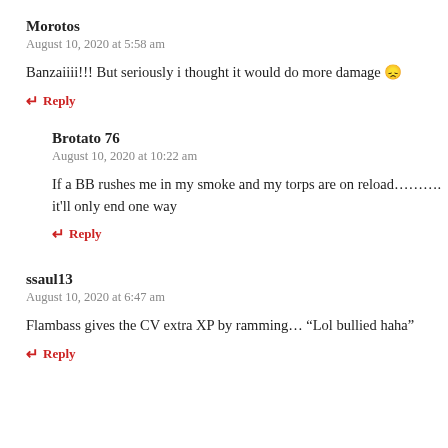Morotos
August 10, 2020 at 5:58 am
Banzaiiii!!! But seriously i thought it would do more damage 😞
↩ Reply
Brotato 76
August 10, 2020 at 10:22 am
If a BB rushes me in my smoke and my torps are on reload………. it'll only end one way
↩ Reply
ssaul13
August 10, 2020 at 6:47 am
Flambass gives the CV extra XP by ramming… "Lol bullied haha"
↩ Reply